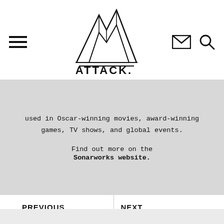[Figure (logo): Attack magazine logo with mountain/peak illustration and ATTACK. wordmark]
used in Oscar-winning movies, award-winning games, TV shows, and global events.

Find out more on the Sonarworks website.
PREVIOUS
Gear/Software – Eventide Instant Flanger Mk II
NEXT
Gear/Software – XLN Audio XO